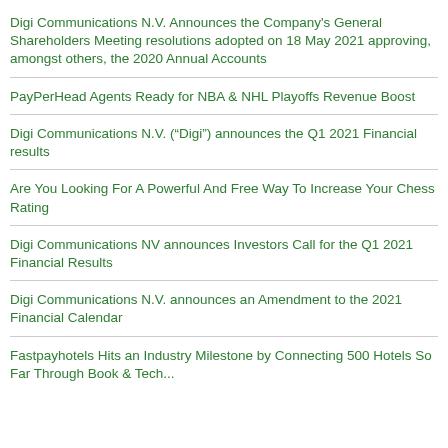Digi Communications N.V. Announces the Company's General Shareholders Meeting resolutions adopted on 18 May 2021 approving, amongst others, the 2020 Annual Accounts
PayPerHead Agents Ready for NBA & NHL Playoffs Revenue Boost
Digi Communications N.V. (“Digi”) announces the Q1 2021 Financial results
Are You Looking For A Powerful And Free Way To Increase Your Chess Rating
Digi Communications NV announces Investors Call for the Q1 2021 Financial Results
Digi Communications N.V. announces an Amendment to the 2021 Financial Calendar
Fastpayhotels Hits an Industry Milestone by Connecting 500 Hotels So Far Through Book & Tech...